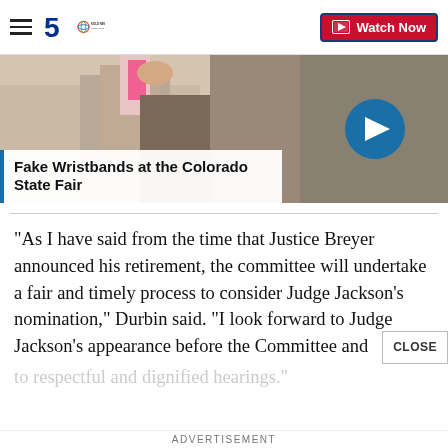KOLD NEWS 5 SOUTHERN COLORADO — Watch Now
[Figure (photo): News website header image showing people at the Colorado State Fair with a navigation arrow circle]
Fake Wristbands at the Colorado State Fair
"As I have said from the time that Justice Breyer announced his retirement, the committee will undertake a fair and timely process to consider Judge Jackson's nomination," Durbin said. "I look forward to Judge Jackson's appearance before the Committee and to respectful and dignified hearings."
ADVERTISEMENT